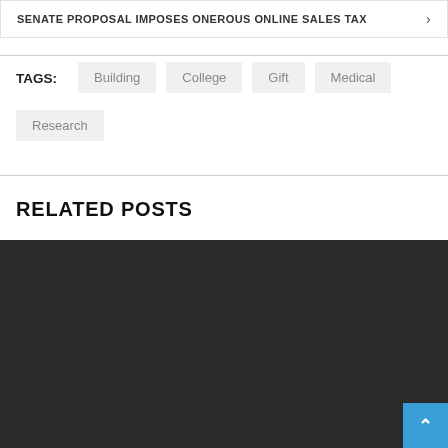SENATE PROPOSAL IMPOSES ONEROUS ONLINE SALES TAX
Building
College
Gift
Medical
Research
RELATED POSTS
[Figure (photo): Dark background image related to a post, with a scroll-to-top button (blue) in the bottom right corner]